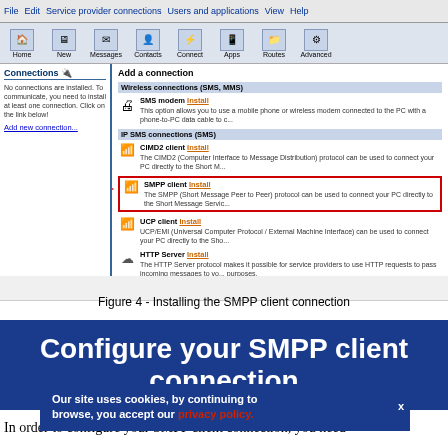[Figure (screenshot): Screenshot of an SMS/SMPP connection installer application window showing toolbar, icon bar, left connections panel, and right 'Add a connection' pane with wireless and IP SMS connection options. A red arrow points to the highlighted SMPP client entry.]
Figure 4 - Installing the SMPP client connection
Configure your SMPP client connection
In order to configure your SMPP client connection, you need to  PP se  ify telephone number associated with this connection. There
Our site uses cookies, by continuing to browse, you accept our privacy policy.